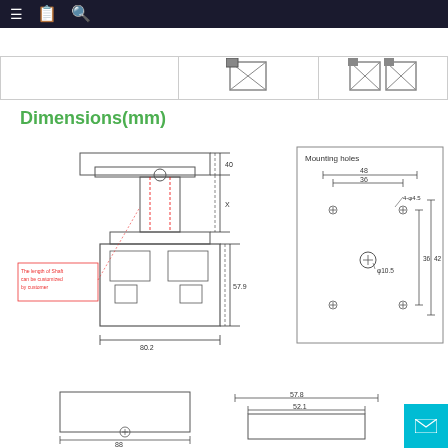Navigation bar with menu, document, and search icons
[Figure (table-as-image): Table row with empty first cell, single component icon in second cell, double component icon in third cell]
Dimensions(mm)
[Figure (engineering-diagram): Front view engineering drawing of a sensor component showing shaft, body, and connector. Dimensions include 40, X, 57.9, 80.2 mm. Red label: The length of Shaft can be customized by customer.]
[Figure (engineering-diagram): Mounting holes pattern diagram showing 48mm and 36mm spacing, 4x phi 4.5 holes, phi 10.5 center hole, 36 and 42mm dimensions.]
[Figure (engineering-diagram): Bottom view engineering drawing partial showing 88mm width and 57.8mm]
[Figure (engineering-diagram): Side bottom view partial showing 52.1mm]